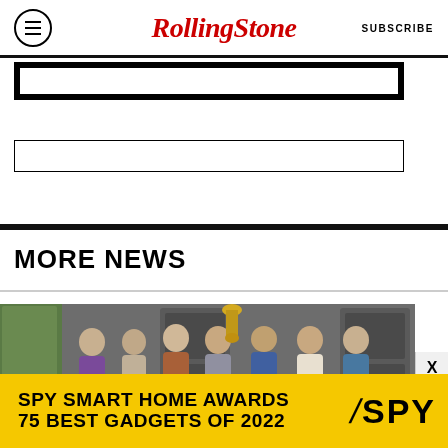Rolling Stone — SUBSCRIBE
[Figure (other): Advertisement placeholder box with thick black border]
[Figure (other): Advertisement placeholder box with thin black border]
MORE NEWS
[Figure (photo): Group photo of BTS members posing at the Grammy Awards, standing in front of Grammy award statues and grey doors]
[Figure (infographic): SPY Smart Home Awards advertisement banner. Yellow background. Text: SPY SMART HOME AWARDS / 75 BEST GADGETS OF 2022. SPY logo with slash on right side.]